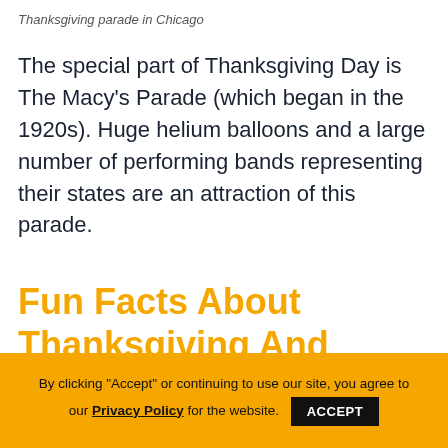Thanksgiving parade in Chicago
The special part of Thanksgiving Day is The Macy's Parade (which began in the 1920s). Huge helium balloons and a large number of performing bands representing their states are an attraction of this parade.
Fun Facts About Thanksgiving And Funny Thanksgiving Trivia!
By clicking "Accept" or continuing to use our site, you agree to our Privacy Policy for the website. ACCEPT